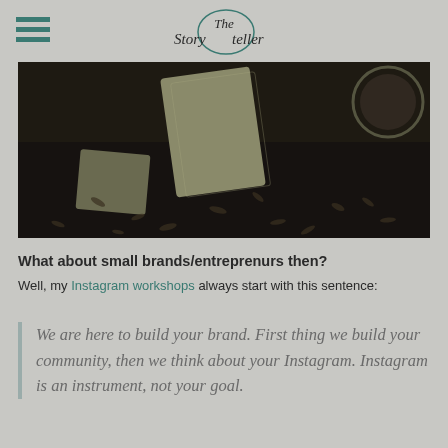The Storyteller
[Figure (photo): Close-up photo of artisan soap bars and scattered coffee beans or seeds on a dark surface]
What about small brands/entreprenurs then?
Well, my Instagram workshops always start with this sentence:
We are here to build your brand. First thing we build your community, then we think about your Instagram. Instagram is an instrument, not your goal.